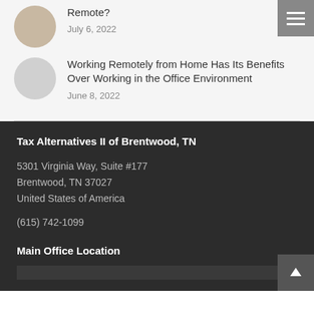Remote?
July 6, 2022
Working Remotely from Home Has Its Benefits Over Working in the Office Environment
June 8, 2022
Tax Alternatives II of Brentwood, TN
5301 Virginia Way, Suite #177
Brentwood, TN 37027
United States of America
(615) 742-1099
Main Office Location